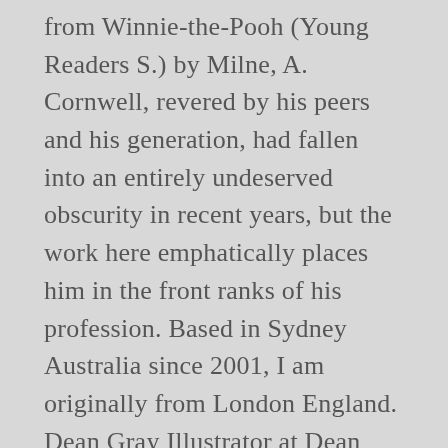from Winnie-the-Pooh (Young Readers S.) by Milne, A. Cornwell, revered by his peers and his generation, had fallen into an entirely undeserved obscurity in recent years, but the work here emphatically places him in the front ranks of his profession. Based in Sydney Australia since 2001, I am originally from London England. Dean Gray Illustrator at Dean Gray Illustration Wellington Metropolitan Area. A.O.M.G. I was born in Roehampton and I'm currently based in south London. Resume . Master of graphic-illustrator Institute of Publishing and Printing. ARTWORK. Follow. Natasha Lavall. Dean Gray ... Graphic designer - Illustrator - Writer. DEAN) Song: Too Much Album: